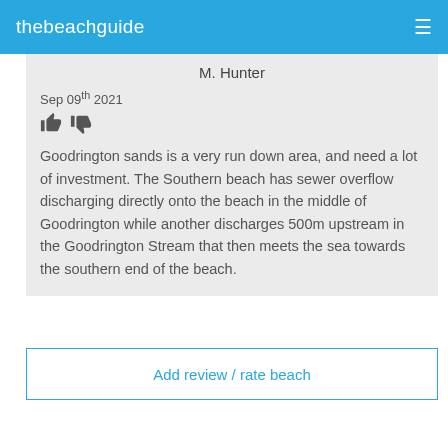thebeachguide
M. Hunter
Sep 09th 2021
Goodrington sands is a very run down area, and need a lot of investment. The Southern beach has sewer overflow discharging directly onto the beach in the middle of Goodrington while another discharges 500m upstream in the Goodrington Stream that then meets the sea towards the southern end of the beach.
Add review / rate beach